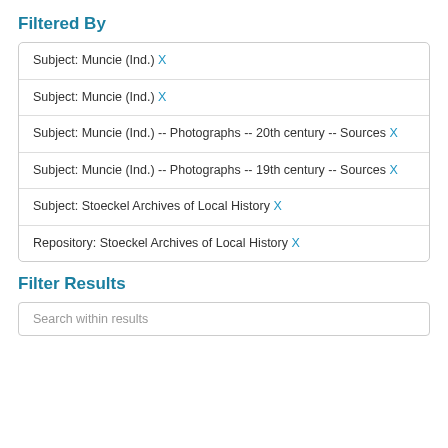Filtered By
Subject: Muncie (Ind.) X
Subject: Muncie (Ind.) X
Subject: Muncie (Ind.) -- Photographs -- 20th century -- Sources X
Subject: Muncie (Ind.) -- Photographs -- 19th century -- Sources X
Subject: Stoeckel Archives of Local History X
Repository: Stoeckel Archives of Local History X
Filter Results
Search within results